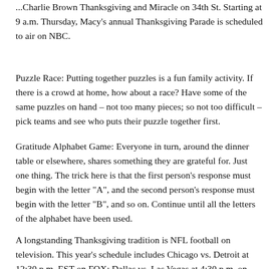...Charlie Brown Thanksgiving and Miracle on 34th St. Starting at 9 a.m. Thursday, Macy's annual Thanksgiving Parade is scheduled to air on NBC.
Puzzle Race: Putting together puzzles is a fun family activity. If there is a crowd at home, how about a race? Have some of the same puzzles on hand – not too many pieces; so not too difficult – pick teams and see who puts their puzzle together first.
Gratitude Alphabet Game: Everyone in turn, around the dinner table or elsewhere, shares something they are grateful for. Just one thing. The trick here is that the first person's response must begin with the letter "A", and the second person's response must begin with the letter "B", and so on. Continue until all the letters of the alphabet have been used.
A longstanding Thanksgiving tradition is NFL football on television. This year's schedule includes Chicago vs. Detroit at 12:30 p.m. EST on FOX; Dallas vs. Las Vegas at 4:30 p.m. on CBS; and Buffalo vs.